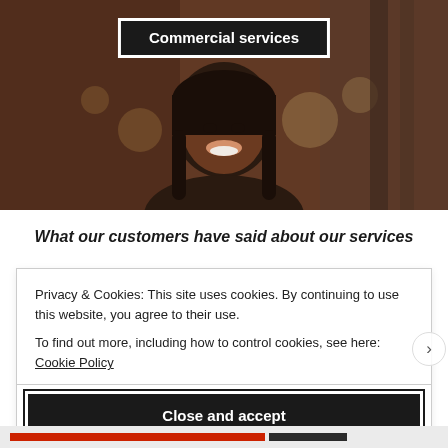[Figure (photo): A smiling woman in a warmly lit interior setting, possibly a restaurant or café. The background shows warm orange-brown tones with bokeh lighting effects.]
Commercial services
What our customers have said about our services
Privacy & Cookies: This site uses cookies. By continuing to use this website, you agree to their use.
To find out more, including how to control cookies, see here: Cookie Policy
Close and accept